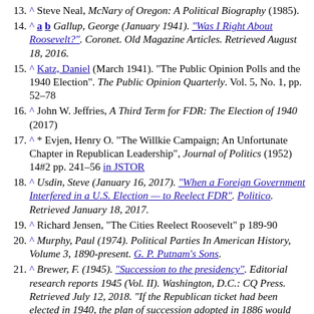13. ^ Steve Neal, McNary of Oregon: A Political Biography (1985).
14. ^ a b Gallup, George (January 1941). "Was I Right About Roosevelt?". Coronet. Old Magazine Articles. Retrieved August 18, 2016.
15. ^ Katz, Daniel (March 1941). "The Public Opinion Polls and the 1940 Election". The Public Opinion Quarterly. Vol. 5, No. 1, pp. 52–78
16. ^ John W. Jeffries, A Third Term for FDR: The Election of 1940 (2017)
17. ^ * Evjen, Henry O. "The Willkie Campaign; An Unfortunate Chapter in Republican Leadership", Journal of Politics (1952) 14#2 pp. 241–56 in JSTOR
18. ^ Usdin, Steve (January 16, 2017). "When a Foreign Government Interfered in a U.S. Election — to Reelect FDR". Politico. Retrieved January 18, 2017.
19. ^ Richard Jensen, "The Cities Reelect Roosevelt" p 189-90
20. ^ Murphy, Paul (1974). Political Parties In American History, Volume 3, 1890-present. G. P. Putnam's Sons.
21. ^ Brewer, F. (1945). "Succession to the presidency". Editorial research reports 1945 (Vol. II). Washington, D.C.: CQ Press. Retrieved July 12, 2018. "If the Republican ticket had been elected in 1940, the plan of succession adopted in 1886 would probably have come into operation for the first time in 1944. Charles McNary, Republican candidate for